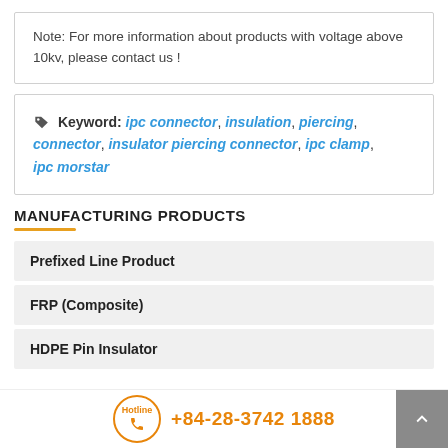Note: For more information about products with voltage above 10kv, please contact us !
Keyword: ipc connector, insulation, piercing, connector, insulator piercing connector, ipc clamp, ipc morstar
MANUFACTURING PRODUCTS
Prefixed Line Product
FRP (Composite)
HDPE Pin Insulator
Hotline +84-28-3742 1888